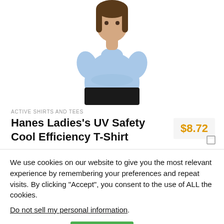[Figure (photo): Woman wearing a light blue short-sleeve t-shirt (Hanes Ladies UV Safety Cool Efficiency T-Shirt), torso and head visible, plain white background.]
ACTIVE SHIRTS AND TEES
Hanes Ladies's UV Safety Cool Efficiency T-Shirt
$8.72
We use cookies on our website to give you the most relevant experience by remembering your preferences and repeat visits. By clicking “Accept”, you consent to the use of ALL the cookies.
Do not sell my personal information.
Cookie settings
ACCEPT